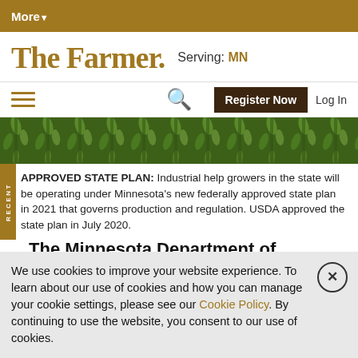More▼
The Farmer. Serving: MN
≡  🔍  Register Now  Log In
[Figure (photo): Close-up photo of industrial hemp plants with green leaves and flowers]
APPROVED STATE PLAN: Industrial help growers in the state will be operating under Minnesota's new federally approved state plan in 2021 that governs production and regulation. USDA approved the state plan in July 2020.
The Minnesota Department of Agriculture
We use cookies to improve your website experience. To learn about our use of cookies and how you can manage your cookie settings, please see our Cookie Policy. By continuing to use the website, you consent to our use of cookies.